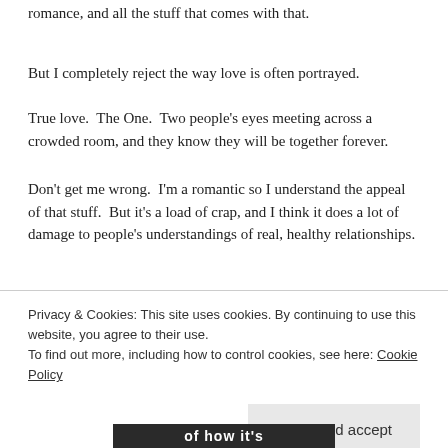romance, and all the stuff that comes with that.
But I completely reject the way love is often portrayed.
True love.  The One.  Two people's eyes meeting across a crowded room, and they know they will be together forever.
Don't get me wrong.  I'm a romantic so I understand the appeal of that stuff.  But it's a load of crap, and I think it does a lot of damage to people's understandings of real, healthy relationships.
[Figure (photo): Dark/black rectangle image placeholder]
Privacy & Cookies: This site uses cookies. By continuing to use this website, you agree to their use.
To find out more, including how to control cookies, see here: Cookie Policy
Close and accept
[Figure (photo): Bottom portion of image showing text 'of how it's']